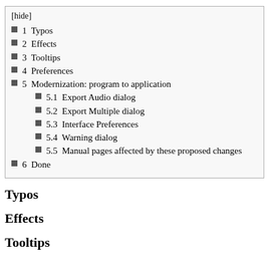[hide]
1  Typos
2  Effects
3  Tooltips
4  Preferences
5  Modernization: program to application
5.1  Export Audio dialog
5.2  Export Multiple dialog
5.3  Interface Preferences
5.4  Warning dialog
5.5  Manual pages affected by these proposed changes
6  Done
Typos
Effects
Tooltips